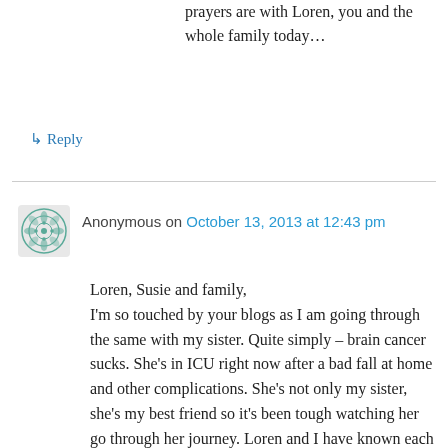prayers are with Loren, you and the whole family today…
↳ Reply
Anonymous on October 13, 2013 at 12:43 pm
Loren, Susie and family,
I'm so touched by your blogs as I am going through the same with my sister. Quite simply – brain cancer sucks. She's in ICU right now after a bad fall at home and other complications. She's not only my sister, she's my best friend so it's been tough watching her go through her journey. Loren and I have known each other through the media and I appreciate his blogs and his sharing as well as all of your thoughts. I'm